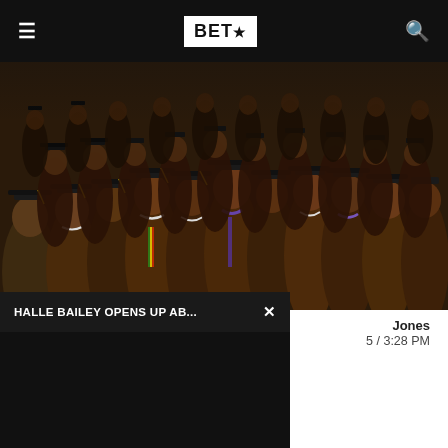BET★
[Figure (photo): Large group of Black college graduates in brown caps and gowns, mouths open as if singing or cheering, with colorful sashes; graduation ceremony photo]
HALLE BAILEY OPENS UP AB... ×
Jones / 3:28 PM
...rically Black colleges and ...ek when plans to ...lina State University were ...ve been an enduring ...threat for HBCUs, historically Black institutions...